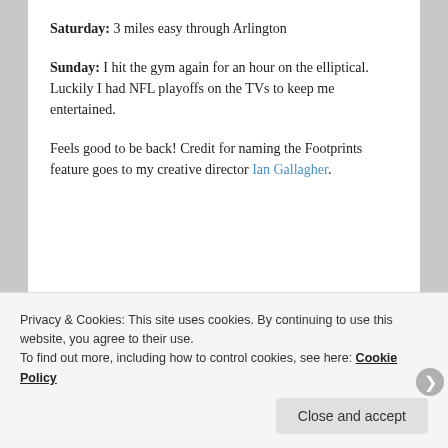Saturday: 3 miles easy through Arlington
Sunday: I hit the gym again for an hour on the elliptical. Luckily I had NFL playoffs on the TVs to keep me entertained.
Feels good to be back! Credit for naming the Footprints feature goes to my creative director Ian Gallagher.
Privacy & Cookies: This site uses cookies. By continuing to use this website, you agree to their use.
To find out more, including how to control cookies, see here: Cookie Policy
Close and accept